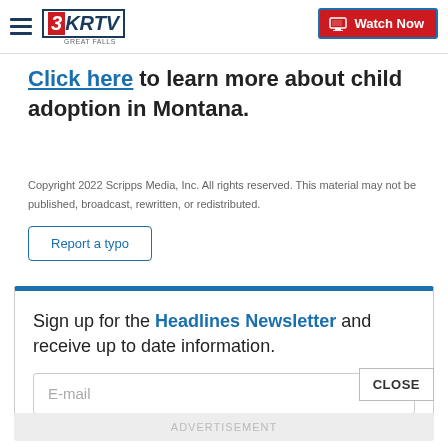3KRTV Great Falls | Watch Now
Click here to learn more about child adoption in Montana.
Copyright 2022 Scripps Media, Inc. All rights reserved. This material may not be published, broadcast, rewritten, or redistributed.
Report a typo
Sign up for the Headlines Newsletter and receive up to date information.
E-mail
CLOSE
ADVERTISEMENT